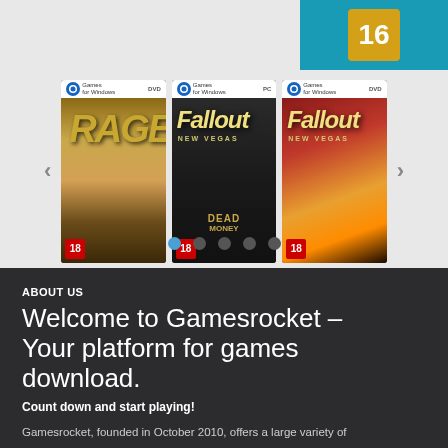[Figure (screenshot): Game store carousel showing three game covers: RAGE, Fallout New Vegas Dead Money DLC, and Fallout New Vegas, with navigation arrows and pagination dots. A rating badge (16) is visible in the top right corner.]
ABOUT US
Welcome to Gamesrocket – Your platform for games download.
Count down and start playing!
Gamesrocket, founded in October 2010, offers a large variety of